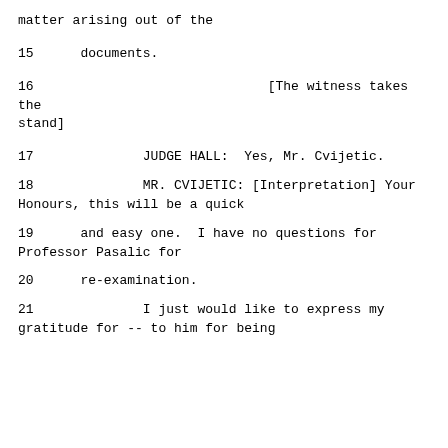matter arising out of the
15      documents.
16                                    [The witness takes the stand]
17              JUDGE HALL:  Yes, Mr. Cvijetic.
18              MR. CVIJETIC: [Interpretation] Your Honours, this will be a quick
19      and easy one.  I have no questions for Professor Pasalic for
20      re-examination.
21              I just would like to express my gratitude for -- to him for being